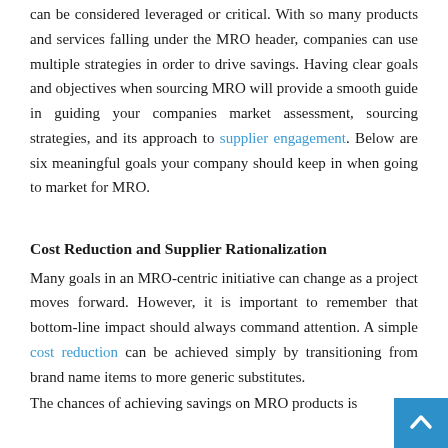can be considered leveraged or critical. With so many products and services falling under the MRO header, companies can use multiple strategies in order to drive savings. Having clear goals and objectives when sourcing MRO will provide a smooth guide in guiding your companies market assessment, sourcing strategies, and its approach to supplier engagement. Below are six meaningful goals your company should keep in when going to market for MRO.
Cost Reduction and Supplier Rationalization
Many goals in an MRO-centric initiative can change as a project moves forward. However, it is important to remember that bottom-line impact should always command attention. A simple cost reduction can be achieved simply by transitioning from brand name items to more generic substitutes.
The chances of achieving savings on MRO products is